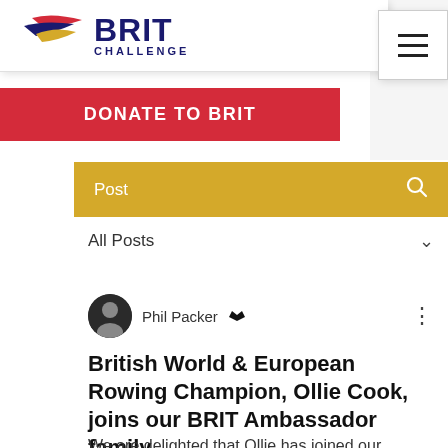[Figure (logo): BRIT Challenge logo with stylized flag swoosh in red, blue, yellow above bold dark blue text BRIT CHALLENGE]
[Figure (other): Hamburger menu button with three horizontal lines]
DONATE TO BRIT
Post
All Posts
Phil Packer
British World & European Rowing Champion, Ollie Cook, joins our BRIT Ambassador family
We are delighted that Ollie has joined our BRIT Ambassador family